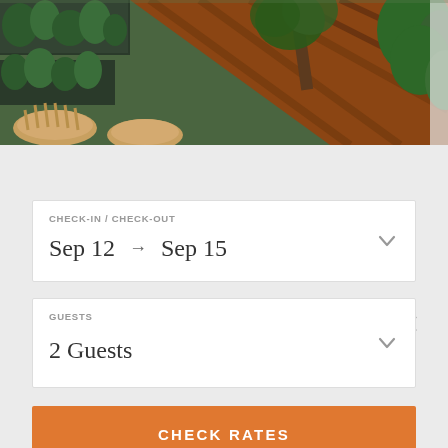[Figure (photo): Aerial/overhead view of a rooftop garden or terrace with wooden decking, dark planter boxes with green plants, wicker chairs, and a tree viewed from above.]
CHECK-IN / CHECK-OUT: Sep 12 → Sep 15
GUESTS: 2 Guests
CHECK RATES